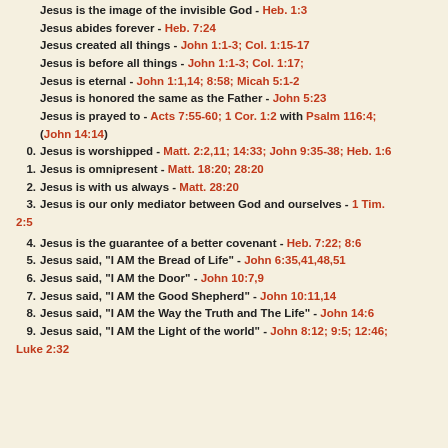Jesus is the image of the invisible God - Heb. 1:3
Jesus abides forever - Heb. 7:24
Jesus created all things - John 1:1-3; Col. 1:15-17
Jesus is before all things - John 1:1-3; Col. 1:17;
Jesus is eternal - John 1:1,14; 8:58; Micah 5:1-2
Jesus is honored the same as the Father - John 5:23
Jesus is prayed to - Acts 7:55-60; 1 Cor. 1:2 with Psalm 116:4; (John 14:14)
Jesus is worshipped - Matt. 2:2,11; 14:33; John 9:35-38; Heb. 1:6
Jesus is omnipresent - Matt. 18:20; 28:20
Jesus is with us always - Matt. 28:20
Jesus is our only mediator between God and ourselves - 1 Tim. 2:5
Jesus is the guarantee of a better covenant - Heb. 7:22; 8:6
Jesus said, "I AM the Bread of Life" - John 6:35,41,48,51
Jesus said, "I AM the Door" - John 10:7,9
Jesus said, "I AM the Good Shepherd" - John 10:11,14
Jesus said, "I AM the Way the Truth and The Life" - John 14:6
Jesus said, "I AM the Light of the world" - John 8:12; 9:5; 12:46; Luke 2:32